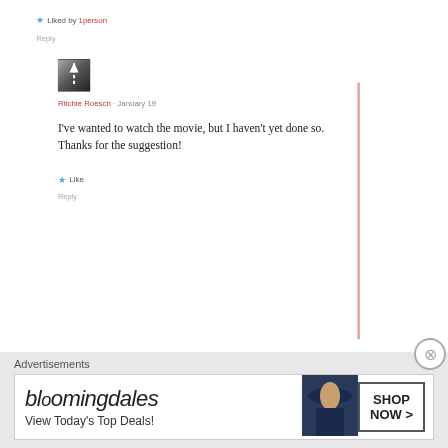Liked by 1person
Reply
[Figure (photo): User avatar thumbnail showing a road/path image with an arrow icon]
Ritchie Roesch · January 19
I've wanted to watch the movie, but I haven't yet done so. Thanks for the suggestion!
Like
Reply
Advertisements
[Figure (screenshot): Bloomingdale's advertisement banner: 'View Today's Top Deals!' with SHOP NOW button and model in hat]